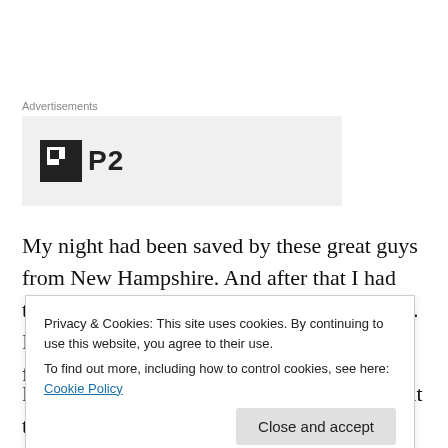Advertisements
[Figure (logo): Advertisement banner with a black square icon containing a white square with a dark cutout, and bold text 'P2' next to it, on a light gray background.]
My night had been saved by these great guys from New Hampshire. And after that I had the great fortune of finally catching Foreign Islands. I have been a big fan of this Brooklyn band for quite awhile, it was just more amazing that I have never seen them live. Foreign Islands let it...
Privacy & Cookies: This site uses cookies. By continuing to use this website, you agree to their use.
To find out more, including how to control cookies, see here: Cookie Policy
Needless to say, whether the show was meant to end at